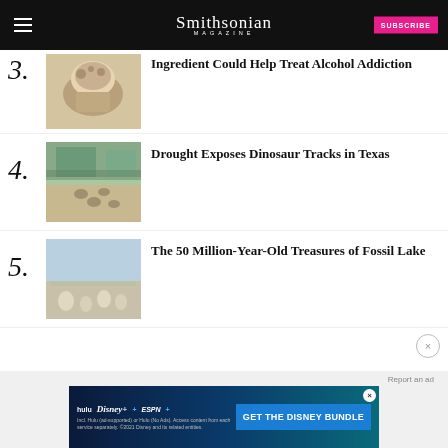Smithsonian Magazine | SUBSCRIBE
Ingredient Could Help Treat Alcohol Addiction
Drought Exposes Dinosaur Tracks in Texas
The 50 Million-Year-Old Treasures of Fossil Lake
[Figure (screenshot): Disney Bundle advertisement banner with Hulu, Disney+, ESPN+ logos and GET THE DISNEY BUNDLE CTA]